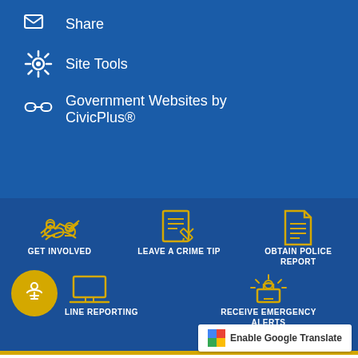Share
Site Tools
Government Websites by CivicPlus®
[Figure (infographic): Navigation icons on blue background: GET INVOLVED (handshake icon), LEAVE A CRIME TIP (notepad with pencil icon), OBTAIN POLICE REPORT (document icon), ONLINE REPORTING (laptop icon), RECEIVE EMERGENCY ALERTS (alarm light icon)]
[Figure (logo): PageAssist accessibility button - yellow circle with person icon]
Enable Google Translate